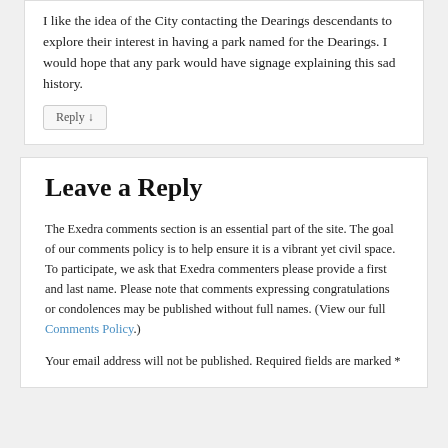I like the idea of the City contacting the Dearings descendants to explore their interest in having a park named for the Dearings. I would hope that any park would have signage explaining this sad history.
Reply ↓
Leave a Reply
The Exedra comments section is an essential part of the site. The goal of our comments policy is to help ensure it is a vibrant yet civil space. To participate, we ask that Exedra commenters please provide a first and last name. Please note that comments expressing congratulations or condolences may be published without full names. (View our full Comments Policy.)
Your email address will not be published. Required fields are marked *